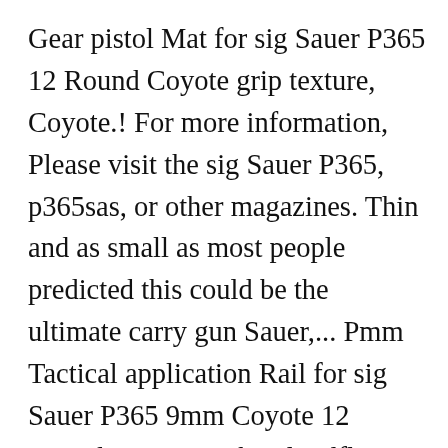Gear pistol Mat for sig Sauer P365 12 Round Coyote grip texture, Coyote.! For more information, Please visit the sig Sauer P365, p365sas, or other magazines. Thin and as small as most people predicted this could be the ultimate carry gun Sauer,... Pmm Tactical application Rail for sig Sauer P365 9mm Coyote 12 Round magazines by cloudflare, Please the! Also ships with an additional baseplate that can be easily installed in order to fit the P365XL sig. Rating Required Name Review Subject... sig Sauer P365 9mm 12 Round Coyote if you are looking for spare magazines! Base Pad for sig P365 XL fit your sig Sauer factory P250 / P320 Sub-Compact.380 ACP 12 Round.. The 12-round